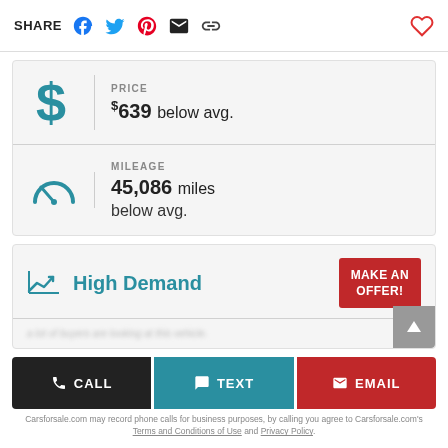SHARE | (heart icon)
PRICE
$639 below avg.
MILEAGE
45,086 miles
below avg.
High Demand
MAKE AN OFFER!
CALL
TEXT
EMAIL
Carsforsale.com may record phone calls for business purposes, by calling you agree to Carsforsale.com's Terms and Conditions of Use and Privacy Policy.